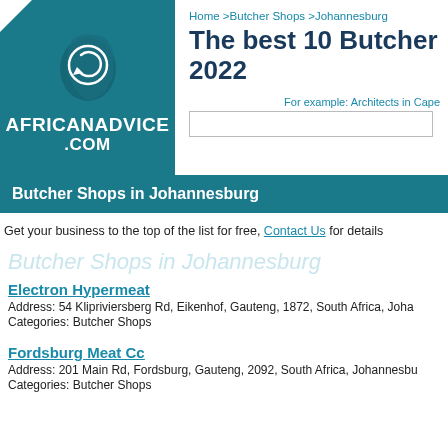[Figure (logo): AfricanAdvice.com logo — teal background with Africa map silhouette and circular arrow icon]
Home >Butcher Shops >Johannesburg
The best 10 Butcher Sh 2022
For example: Architects in Cape
Butcher Shops in Johannesburg
Get your business to the top of the list for free, Contact Us for details
Butcher Shops in Johannesburg
Electron Hypermeat
Address: 54 Klipriviersberg Rd, Eikenhof, Gauteng, 1872, South Africa, Joha
Categories: Butcher Shops
Fordsburg Meat Cc
Address: 201 Main Rd, Fordsburg, Gauteng, 2092, South Africa, Johannesbu
Categories: Butcher Shops